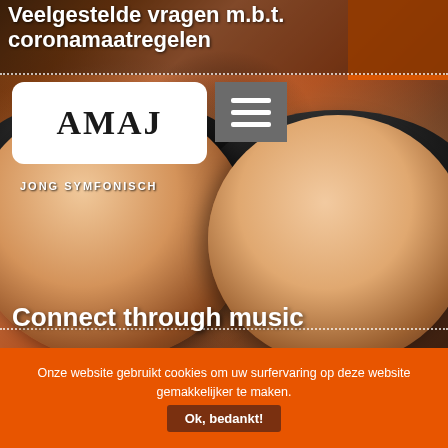Veelgestelde vragen m.b.t. coronamaatregelen
[Figure (photo): Close-up photo of two Playmobil toy figures facing each other, with dark helmets/hair, against a warm brown background. Navigation bar overlaid with AMAJ logo and hamburger menu button.]
JONG SYMFONISCH
Connect through music
Onze website gebruikt cookies om uw surfervaring op deze website gemakkelijker te maken.
Ok, bedankt!